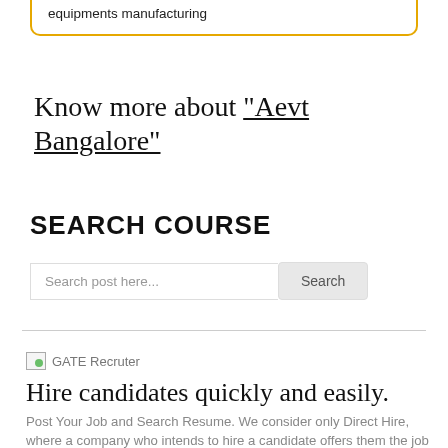equipments manufacturing
Know more about "Aevt Bangalore"
SEARCH COURSE
Search post here...
[Figure (other): GATE Recruter broken image icon with alt text]
Hire candidates quickly and easily.
Post Your Job and Search Resume. We consider only Direct Hire, where a company who intends to hire a candidate offers them the job directly.